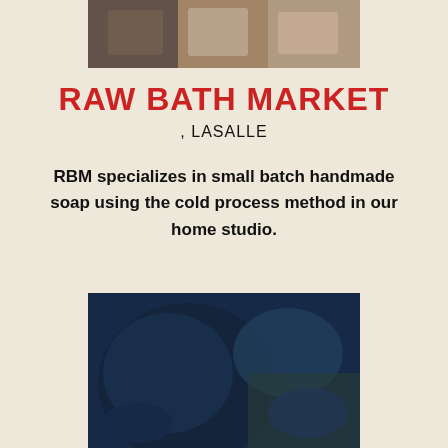[Figure (photo): Top photo showing handmade soap bars with various colors and textures]
RAW BATH MARKET
, LASALLE
RBM specializes in small batch handmade soap using the cold process method in our home studio.
[Figure (illustration): Instagram logo icon]
[Figure (photo): Bottom photo showing blue glazed ceramic bowls and pottery items]